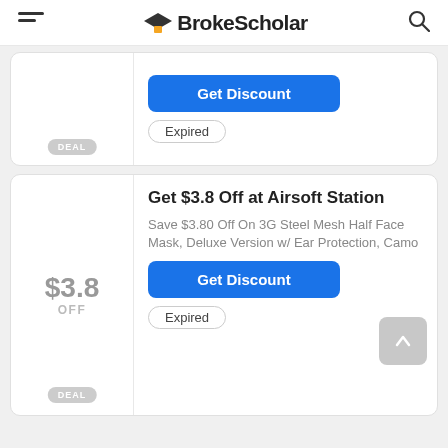BrokeScholar
Get Discount
Expired
DEAL
$3.8 OFF
Get $3.8 Off at Airsoft Station
Save $3.80 Off On 3G Steel Mesh Half Face Mask, Deluxe Version w/ Ear Protection, Camo
Get Discount
Expired
DEAL